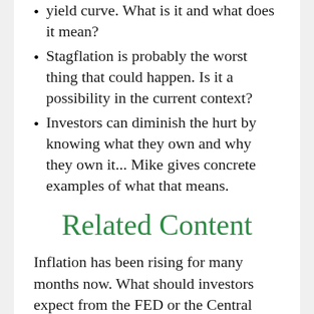yield curve. What is it and what does it mean?
Stagflation is probably the worst thing that could happen. Is it a possibility in the current context?
Investors can diminish the hurt by knowing what they own and why they own it... Mike gives concrete examples of what that means.
Related Content
Inflation has been rising for many months now. What should investors expect from the FED or the Central Bank of Canada? How will it continue